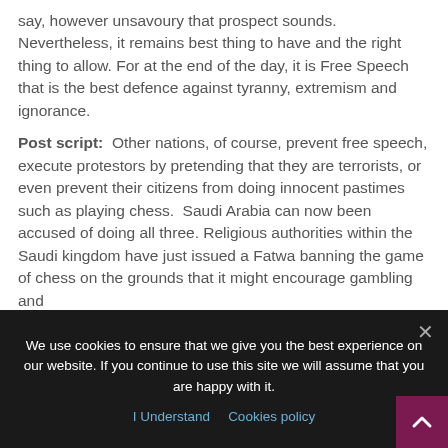say, however unsavoury that prospect sounds. Nevertheless, it remains best thing to have and the right thing to allow. For at the end of the day, it is Free Speech that is the best defence against tyranny, extremism and ignorance.

Post script: Other nations, of course, prevent free speech, execute protestors by pretending that they are terrorists, or even prevent their citizens from doing innocent pastimes such as playing chess. Saudi Arabia can now been accused of doing all three. Religious authorities within the Saudi kingdom have just issued a Fatwa banning the game of chess on the grounds that it might encourage gambling and
We use cookies to ensure that we give you the best experience on our website. If you continue to use this site we will assume that you are happy with it.
I Understand   Cookies policy